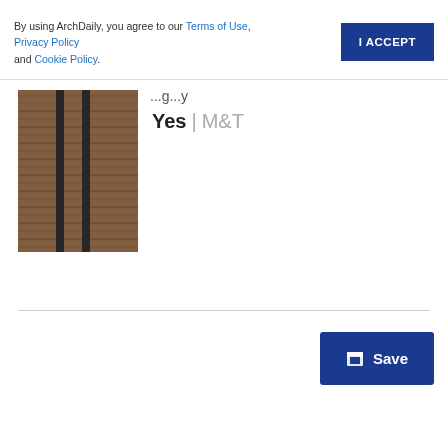By using ArchDaily, you agree to our Terms of Use, Privacy Policy and Cookie Policy.
I ACCEPT
[Figure (photo): Thumbnail photo of a textured brick or stone wall with dark vertical metal rails/columns]
Yes | M&T
Save